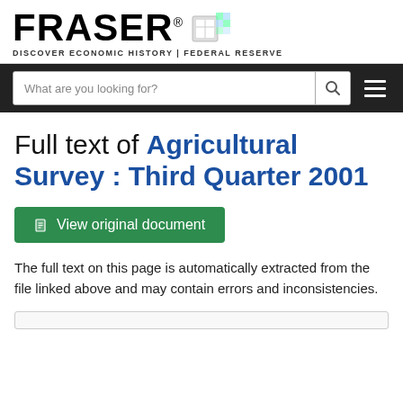[Figure (logo): FRASER logo with stylized book/grid icon and tagline: DISCOVER ECONOMIC HISTORY | FEDERAL RESERVE]
[Figure (screenshot): Navigation bar with search box placeholder 'What are you looking for?', search icon, and hamburger menu icon on dark background]
Full text of Agricultural Survey : Third Quarter 2001
[Figure (other): Green button: View original document]
The full text on this page is automatically extracted from the file linked above and may contain errors and inconsistencies.